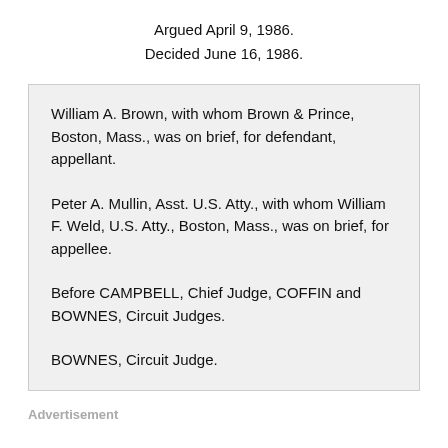Argued April 9, 1986.
Decided June 16, 1986.
William A. Brown, with whom Brown & Prince, Boston, Mass., was on brief, for defendant, appellant.

Peter A. Mullin, Asst. U.S. Atty., with whom William F. Weld, U.S. Atty., Boston, Mass., was on brief, for appellee.

Before CAMPBELL, Chief Judge, COFFIN and BOWNES, Circuit Judges.

BOWNES, Circuit Judge.
Advertisement